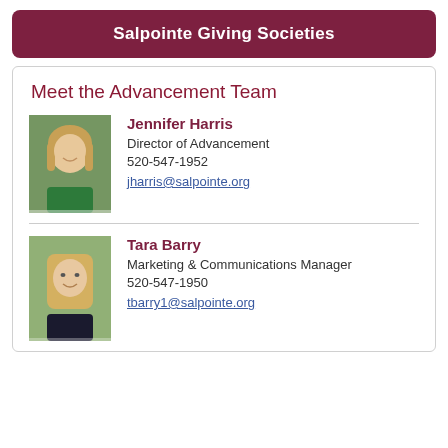Salpointe Giving Societies
Meet the Advancement Team
[Figure (photo): Photo of Jennifer Harris, a woman with blonde hair wearing a green top, smiling outdoors]
Jennifer Harris
Director of Advancement
520-547-1952
jharris@salpointe.org
[Figure (photo): Photo of Tara Barry, a woman with straight blonde hair wearing a dark top, smiling]
Tara Barry
Marketing & Communications Manager
520-547-1950
tbarry1@salpointe.org